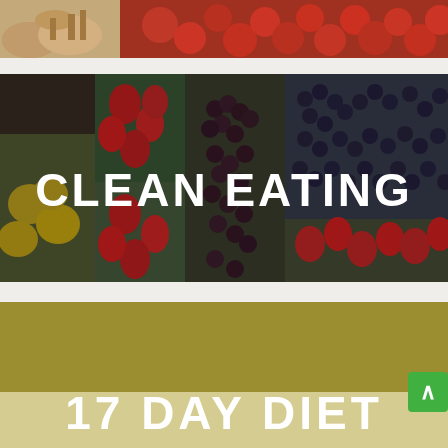[Figure (photo): Top strip photo of mushrooms and red tomatoes on a light gray background]
[Figure (photo): Colorful berries and fruits in green market containers — blueberries, strawberries, raspberries, yellow tomatoes — with overlaid bold white text reading CLEAN EATING]
[Figure (photo): Olive/tan colored background block with bold white text reading 17 DAY DIET, partially visible at bottom of page]